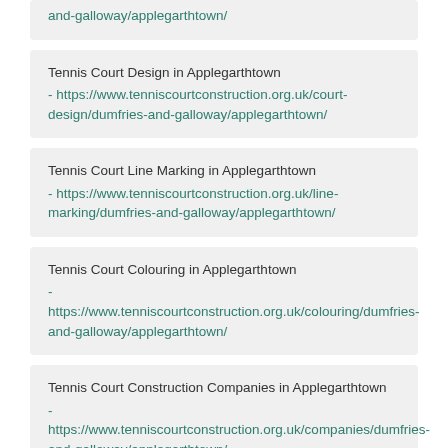and-galloway/applegarthtown/ (top partial card link)
Tennis Court Design in Applegarthtown - https://www.tenniscourtconstruction.org.uk/court-design/dumfries-and-galloway/applegarthtown/
Tennis Court Line Marking in Applegarthtown - https://www.tenniscourtconstruction.org.uk/line-marking/dumfries-and-galloway/applegarthtown/
Tennis Court Colouring in Applegarthtown - https://www.tenniscourtconstruction.org.uk/colouring/dumfries-and-galloway/applegarthtown/
Tennis Court Construction Companies in Applegarthtown - https://www.tenniscourtconstruction.org.uk/companies/dumfries-and-galloway/applegarthtown/
Tennis Court Dimensions in Applegarthtown